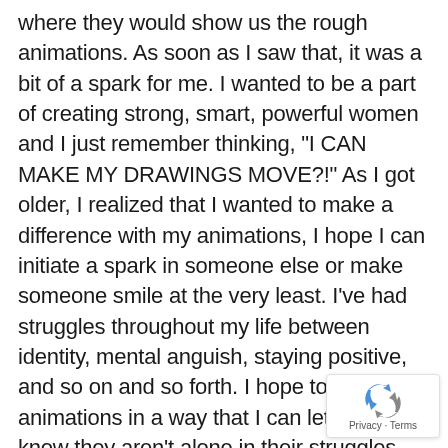where they would show us the rough animations. As soon as I saw that, it was a bit of a spark for me. I wanted to be a part of creating strong, smart, powerful women and I just remember thinking, "I CAN MAKE MY DRAWINGS MOVE?!" As I got older, I realized that I wanted to make a difference with my animations, I hope I can initiate a spark in someone else or make someone smile at the very least. I've had struggles throughout my life between identity, mental anguish, staying positive, and so on and so forth. I hope to create my animations in a way that I can let people know they aren't alone in their struggles and that it does get better. Animation is powerful and I enjoy being part of this community.
[Figure (logo): reCAPTCHA privacy badge with recycling-arrow logo and Privacy · Terms text]